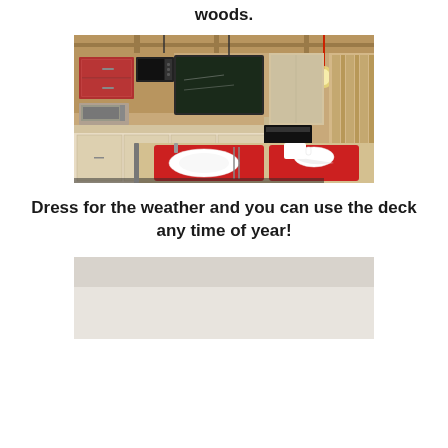woods.
[Figure (photo): Interior photo of a cozy wooden cabin kitchen with light wood cabinets, red upper cabinet doors, microwave, toaster oven, blackboard, pendant lights, and a dining table with red placemats and white dishes in the foreground.]
Dress for the weather and you can use the deck any time of year!
[Figure (photo): Partial photo of what appears to be an outdoor deck or patio area, mostly light/grey toned.]